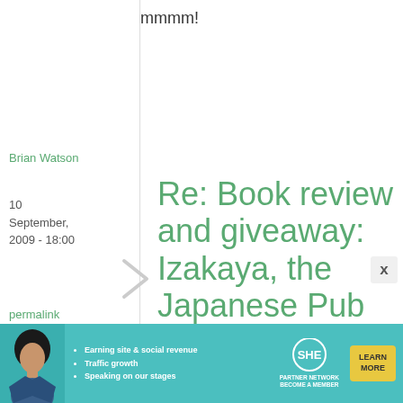mmmm!
Brian Watson
10 September, 2009 - 18:00
permalink
Re: Book review and giveaway: Izakaya, the Japanese Pub ...
My favorite tipple is usually something
[Figure (other): Advertisement banner for SHE Partner Network with woman photo, bullet points about earning site & social revenue, traffic growth, speaking on stages, SHE logo, and Learn More button]